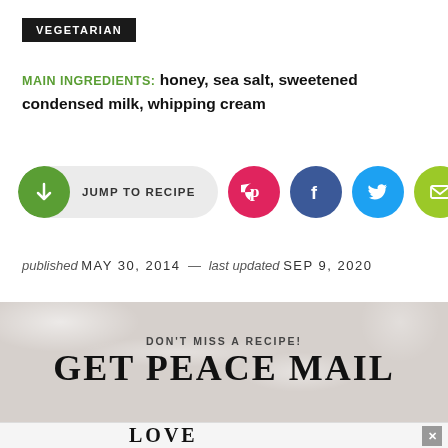VEGETARIAN
MAIN INGREDIENTS: honey, sea salt, sweetened condensed milk, whipping cream
[Figure (infographic): Jump to Recipe button (green circle with down arrow, light grey pill) and four social share icons: Pinterest (pink), Facebook (blue), Twitter (teal), Email (lime green)]
published MAY 30, 2014 — last updated SEP 9, 2020
[Figure (infographic): Marble texture banner with text: DON'T MISS A RECIPE! GET PEACE MAIL]
[Figure (infographic): Advertisement strip at bottom showing LOVE text art logo with close buttons]